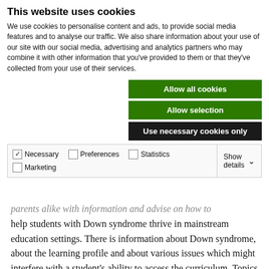This website uses cookies
We use cookies to personalise content and ads, to provide social media features and to analyse our traffic. We also share information about your use of our site with our social media, advertising and analytics partners who may combine it with other information that you've provided to them or that they've collected from your use of their services.
[Figure (screenshot): Three buttons: 'Allow all cookies' (green), 'Allow selection' (green), 'Use necessary cookies only' (dark/black)]
[Figure (screenshot): Cookie consent checkboxes row: Necessary (checked), Preferences (unchecked), Statistics (unchecked), Marketing (unchecked), with a 'Show details' dropdown on the right]
parents alike with information and advise on how to help students with Down syndrome thrive in mainstream education settings. There is information about Down syndrome, about the learning profile and about various issues which might interfere with a student's ability to access the curriculum. Topics covered include literacy; numeracy; movement, sport and leisure; managing behaviour and social